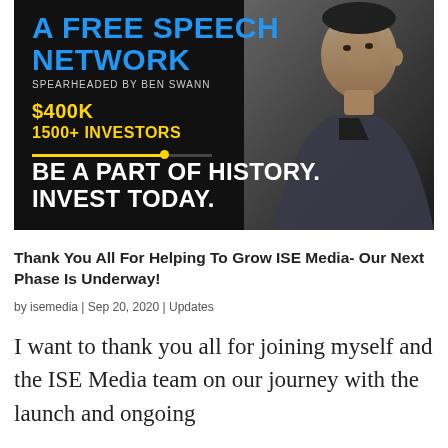[Figure (infographic): Dark banner advertisement for ISE Media free speech network. Blue bold text 'A FREE SPEECH NETWORK', grey text 'SPEARHEADED BY BEN SWANN', yellow text '$400K' and '1500+ INVESTORS' with a yellow progress bar, white bold text 'BE A PART OF HISTORY. INVEST TODAY.', and a photo of Ben Swann on the right side.]
Thank You All For Helping To Grow ISE Media- Our Next Phase Is Underway!
by isemedia | Sep 20, 2020 | Updates
I want to thank you all for joining myself and the ISE Media team on our journey with the launch and ongoing